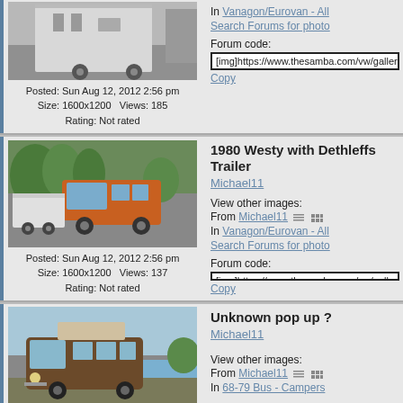[Figure (photo): Back of a white cargo trailer/van parked in a lot]
Posted: Sun Aug 12, 2012 2:56 pm
Size: 1600x1200   Views: 185
Rating: Not rated
Forum code:
[img]https://www.thesamba.com/vw/gallery/pi
Copy
1980 Westy with Dethleffs Trailer
Michael11
View other images:
From Michael11
In Vanagon/Eurovan - All
Search Forums for photo
Forum code:
[img]https://www.thesamba.com/vw/gallery/pi
Copy
[Figure (photo): Orange VW Westy Vanagon towing a white Dethleffs folding trailer, parked on gravel]
Posted: Sun Aug 12, 2012 2:56 pm
Size: 1600x1200   Views: 137
Rating: Not rated
Unknown pop up ?
Michael11
View other images:
From Michael11
In 68-79 Bus - Campers
[Figure (photo): Brown VW Bus with pop-up roof camper parked near water]